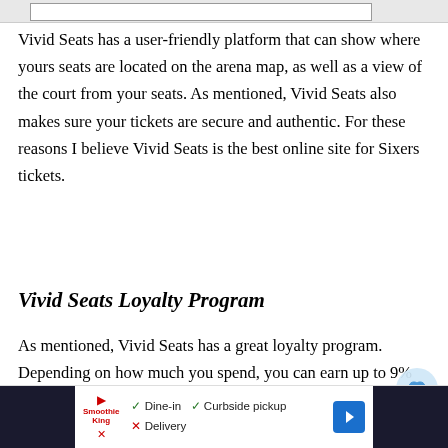Vivid Seats has a user-friendly platform that can show where yours seats are located on the arena map, as well as a view of the court from your seats. As mentioned, Vivid Seats also makes sure your tickets are secure and authentic. For these reasons I believe Vivid Seats is the best online site for Sixers tickets.
Vivid Seats Loyalty Program
As mentioned, Vivid Seats has a great loyalty program. Depending on how much you spend, you can earn up to 9% cash back on any purchase you make with them. Not only do you get an incredible 9% cash back if you reach "HOF" status, you will also get